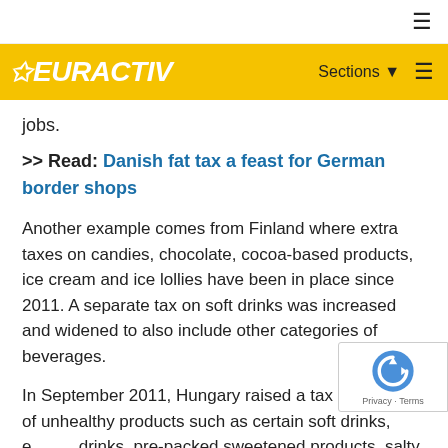EURACTIV — Sections (navigation bar)
jobs.
>> Read: Danish fat tax a feast for German border shops
Another example comes from Finland where extra taxes on candies, chocolate, cocoa-based products, ice cream and ice lollies have been in place since 2011. A separate tax on soft drinks was increased and widened to also include other categories of beverages.
In September 2011, Hungary raised a tax on a series of unhealthy products such as certain soft drinks, energy drinks, pre-packed sweetened products, salty snacks and condiments. At the same time, the health minister Rillner announced that he...